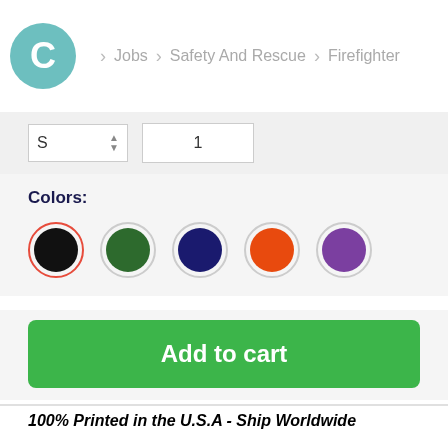C > Jobs > Safety And Rescue > Firefighter
S  1
Colors:
[Figure (other): Five color swatches: black (selected with red ring), dark green, navy blue, orange, purple]
Add to cart
100% Printed in the U.S.A - Ship Worldwide
*HOW TO ORDER?
1. Select style and color
2. Click "Reserve it Now"
3. Select size and quantity